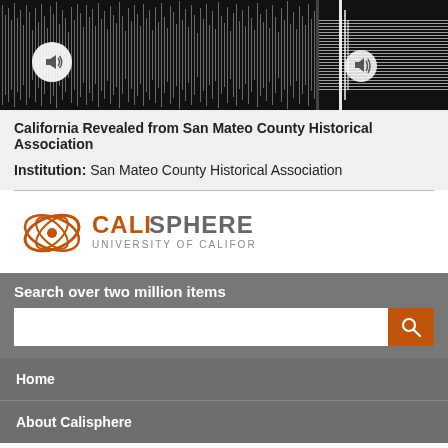[Figure (other): Two audio waveform thumbnails side by side on black background, each with a speaker/play button icon]
California Revealed from San Mateo County Historical Association
Institution: San Mateo County Historical Association
[Figure (logo): Calisphere - University of California logo with orange swirl icon]
Search over two million items
Home
About Calisphere